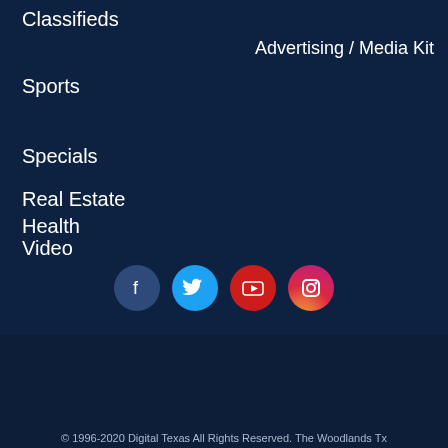Classifieds
Advertising / Media Kit
Sports
Specials
Health
Real Estate
Video
[Figure (logo): Social media icons: Facebook, Twitter, YouTube, Instagram]
[Figure (logo): A Digital Texas Website logo]
© 1996-2020 Digital Texas All Rights Reserved. The Woodlands Tx